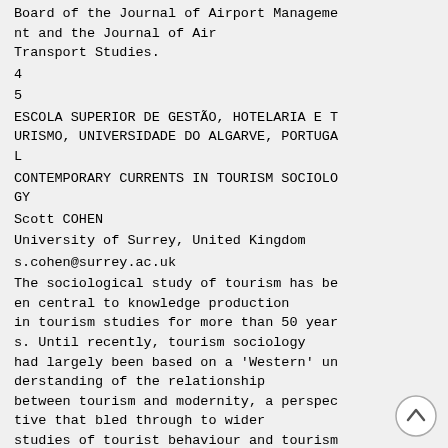Board of the Journal of Airport Management and the Journal of Air Transport Studies.
4
5
ESCOLA SUPERIOR DE GESTÃO, HOTELARIA E TURISMO, UNIVERSIDADE DO ALGARVE, PORTUGAL
CONTEMPORARY CURRENTS IN TOURISM SOCIOLOGY
Scott COHEN
University of Surrey, United Kingdom
s.cohen@surrey.ac.uk
The sociological study of tourism has been central to knowledge production in tourism studies for more than 50 years. Until recently, tourism sociology had largely been based on a 'Western' understanding of the relationship between tourism and modernity, a perspective that bled through to wider studies of tourist behaviour and tourism development. In the last 15 years, however, a broader paradigmatic shift in